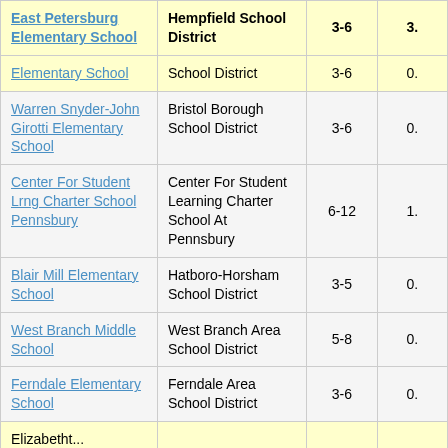| School | District | Grades |  |
| --- | --- | --- | --- |
| East Petersburg Elementary School | Hempfield School District | 3-6 | 3. |
| Elementary School | School District | 3-6 | 0. |
| Warren Snyder-John Girotti Elementary School | Bristol Borough School District | 3-6 | 0. |
| Center For Student Lrng Charter School Pennsbury | Center For Student Learning Charter School At Pennsbury | 6-12 | 1. |
| Blair Mill Elementary School | Hatboro-Horsham School District | 3-5 | 0. |
| West Branch Middle School | West Branch Area School District | 5-8 | 0. |
| Ferndale Elementary School | Ferndale Area School District | 3-6 | 0. |
| Elizabetht... |  |  |  |